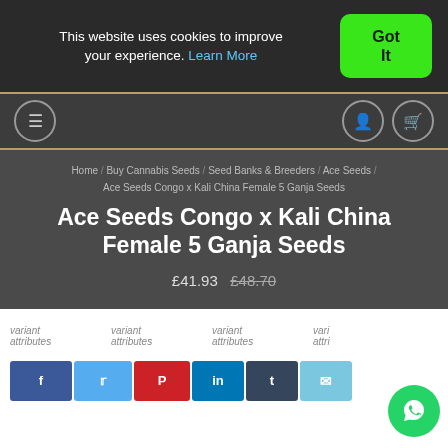This website uses cookies to improve your experience. Learn More
Got It
Navigation bar with menu, account, and cart icons
Home / Buy Cannabis Seeds / Seed Banks & Breeders / Ace Seeds / Ace Seeds Congo x Kali China Female 5 Ganja Seeds
Ace Seeds Congo x Kali China Female 5 Ganja Seeds
£41.93  £48.70
[Figure (screenshot): Four variant attribute image placeholders in a row]
[Figure (infographic): Social share buttons: Facebook, Twitter, Pinterest, LinkedIn, Tumblr, Email and WhatsApp floating button]